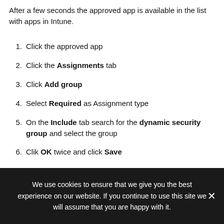After a few seconds the approved app is available in the list with apps in Intune.
Click the approved app
Click the Assignments tab
Click Add group
Select Required as Assignment type
On the Include tab search for the dynamic security group and select the group
Clik OK twice and click Save
d Home Screen - Assignments
[Figure (screenshot): Partial screenshot of a web interface showing a search input with placeholder '(Ctrl+/)' a double chevron button, and Save and Discard action buttons in the toolbar.]
We use cookies to ensure that we give you the best experience on our website. If you continue to use this site we will assume that you are happy with it.